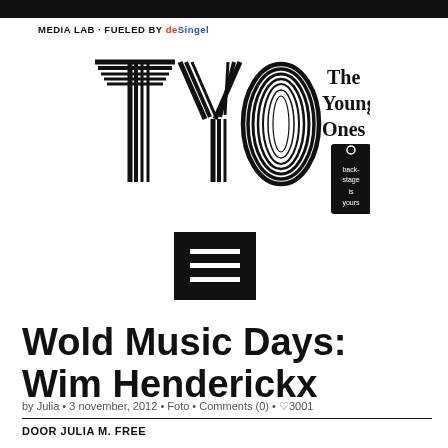MEDIA LAB · FUELED BY deSingel
[Figure (logo): TYO – The Young Ones logo with backstage tag. Large stylized letters T, Y, O with 'The Young Ones' text and a black tag reading 'backstage is yours'.]
[Figure (other): Black square hamburger/menu button with three white horizontal lines]
Wold Music Days: Wim Henderickx
by Julia • 3 november, 2012 • Foto • Comments (0) • ♡3001
DOOR JULIA M. FREE